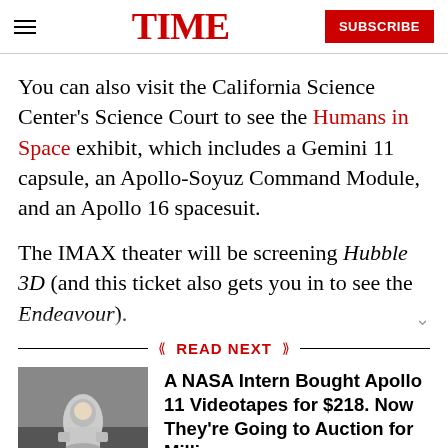TIME | SUBSCRIBE
You can also visit the California Science Center's Science Court to see the Humans in Space exhibit, which includes a Gemini 11 capsule, an Apollo-Soyuz Command Module, and an Apollo 16 spacesuit.
The IMAX theater will be screening Hubble 3D (and this ticket also gets you in to see the Endeavour).
READ NEXT
A NASA Intern Bought Apollo 11 Videotapes for $218. Now They're Going to Auction for Millions